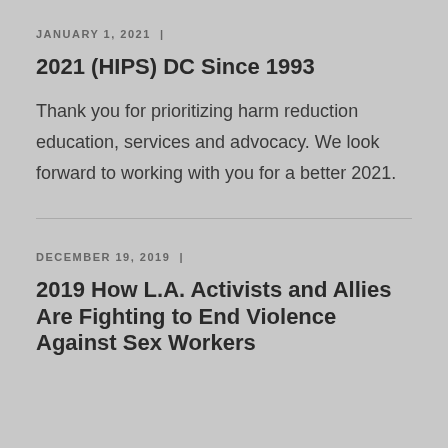JANUARY 1, 2021  |
2021 (HIPS) DC Since 1993
Thank you for prioritizing harm reduction education, services and advocacy. We look forward to working with you for a better 2021.
DECEMBER 19, 2019  |
2019 How L.A. Activists and Allies Are Fighting to End Violence Against Sex Workers